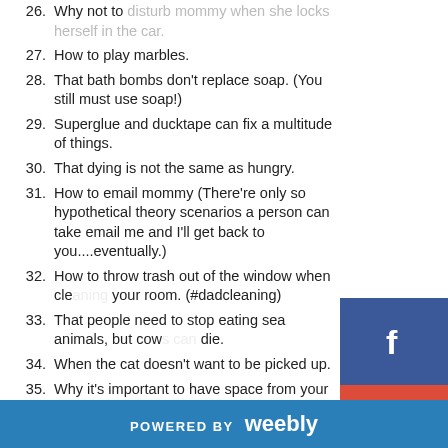26. Why not to disturb mommy when she locks herself in the car.
27. How to play marbles.
28. That bath bombs don't replace soap. (You still must use soap!)
29. Superglue and ducktape can fix a multitude of things.
30. That dying is not the same as hungry.
31. How to email mommy (There're only so hypothetical theory scenarios a person can take email me and I'll get back to you....eventually.)
32. How to throw trash out of the window when cleaning your room. (#dadcleaning)
33. That people need to stop eating sea animals, but cows can die.
34. When the cat doesn't want to be picked up.
35. Why it's important to have space from your sibling.
36. A dog can eat an entire loaf of bread.
POWERED BY weebly